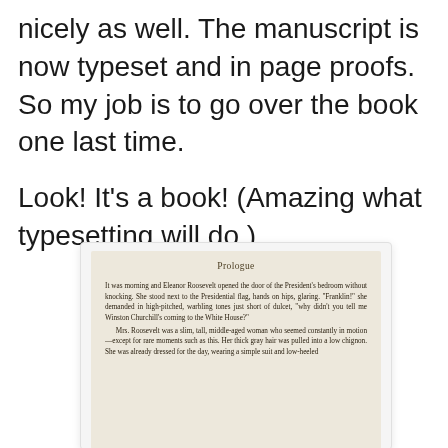nicely as well. The manuscript is now typeset and in page proofs. So my job is to go over the book one last time.
Look! It's a book! (Amazing what typesetting will do.)
[Figure (photo): A photo of a page proof/book page showing 'Prologue' heading and the opening paragraph beginning 'It was morning and Eleanor Roosevelt opened the door of the President's bedroom without knocking...']